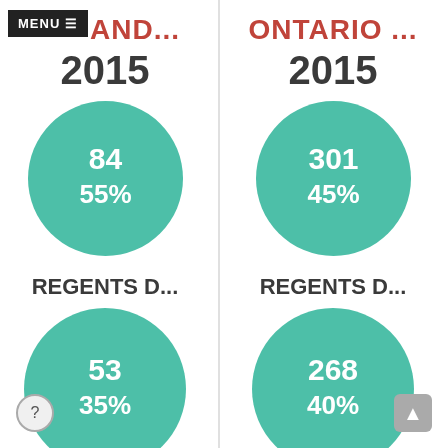MENU
GRAND...
ONTARIO ...
2015
2015
[Figure (donut-chart): GRAND... 2015]
[Figure (donut-chart): ONTARIO ... 2015]
REGENTS D...
REGENTS D...
[Figure (donut-chart): GRAND... REGENTS D...]
[Figure (donut-chart): ONTARIO ... REGENTS D...]